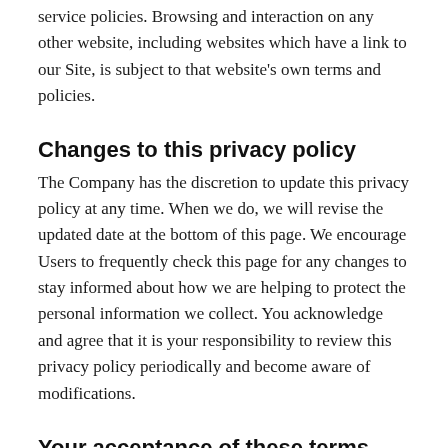service policies. Browsing and interaction on any other website, including websites which have a link to our Site, is subject to that website's own terms and policies.
Changes to this privacy policy
The Company has the discretion to update this privacy policy at any time. When we do, we will revise the updated date at the bottom of this page. We encourage Users to frequently check this page for any changes to stay informed about how we are helping to protect the personal information we collect. You acknowledge and agree that it is your responsibility to review this privacy policy periodically and become aware of modifications.
Your acceptance of these terms
By using this Site, you signify your acceptance of this policy and terms of service. If you do not agree to this policy, please do not use our Site. Your continued use of the Site following the posting of changes to this policy will be